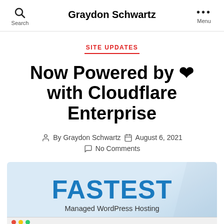Search | Graydon Schwartz | Menu
SITE UPDATES
Now Powered by ♥ with Cloudflare Enterprise
By Graydon Schwartz  August 6, 2021  No Comments
[Figure (screenshot): Hosted service advertisement showing 'FASTEST Managed WordPress Hosting' with a browser window preview below on a light blue background]